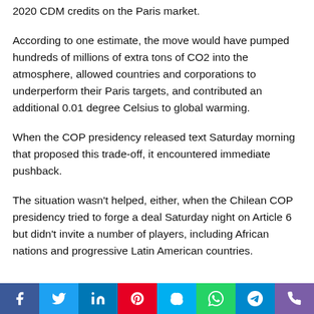2020 CDM credits on the Paris market.
According to one estimate, the move would have pumped hundreds of millions of extra tons of CO2 into the atmosphere, allowed countries and corporations to underperform their Paris targets, and contributed an additional 0.01 degree Celsius to global warming.
When the COP presidency released text Saturday morning that proposed this trade-off, it encountered immediate pushback.
The situation wasn't helped, either, when the Chilean COP presidency tried to forge a deal Saturday night on Article 6 but didn't invite a number of players, including African nations and progressive Latin American countries.